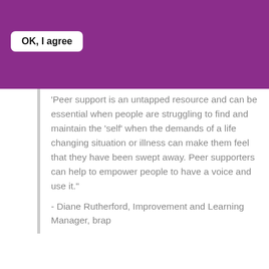OK, I agree
'Peer support is an untapped resource and can be essential when people are struggling to find and maintain the ‘self’ when the demands of a life changing situation or illness can make them feel that they have been swept away. Peer supporters can help to empower people to have a voice and use it."
- Diane Rutherford, Improvement and Learning Manager, brap
The Heart to Heart project aimed to enable older women from ethnic minority communities to access cardiac rehabilitation support and to make positive lifestyle